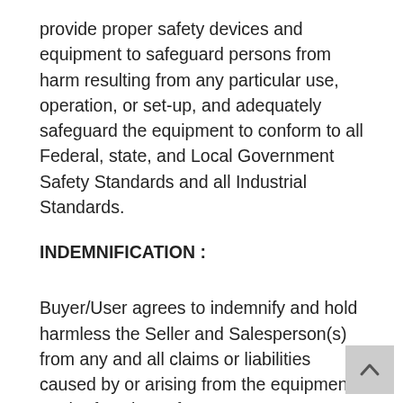provide proper safety devices and equipment to safeguard persons from harm resulting from any particular use, operation, or set-up, and adequately safeguard the equipment to conform to all Federal, state, and Local Government Safety Standards and all Industrial Standards.
INDEMNIFICATION :
Buyer/User agrees to indemnify and hold harmless the Seller and Salesperson(s) from any and all claims or liabilities caused by or arising from the equipment on the face hereof.
It is the Purchaser's responsibility to verify